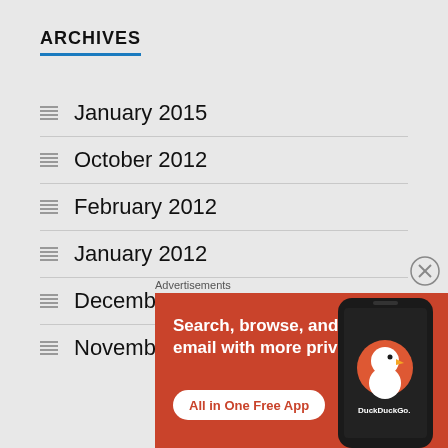ARCHIVES
January 2015
October 2012
February 2012
January 2012
December 2011
November 2011
Advertisements
[Figure (screenshot): DuckDuckGo advertisement banner with orange background showing 'Search, browse, and email with more privacy. All in One Free App' text and phone mockup with DuckDuckGo logo]